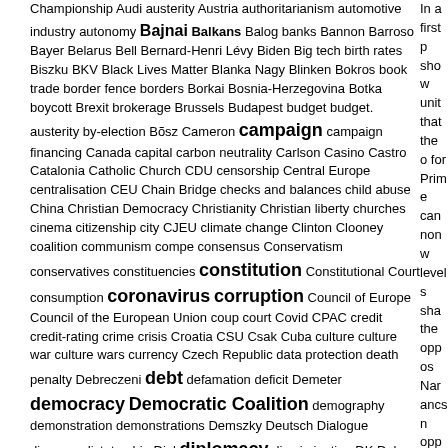Championship Audi austerity Austria authoritarianism automotive industry autonomy Bajnai Balkans Balog banks Bannon Barroso Bayer Belarus Bell Bernard-Henri Lévy Biden Big tech birth rates Biszku BKV Black Lives Matter Blanka Nagy Blinken Bokros book trade border fence borders Borkai Bosnia-Herzegovina Botka boycott Brexit brokerage Brussels Budapest budget budget. austerity by-election Bõsz Cameron campaign campaign financing Canada capital carbon neutrality Carlson Casino Castro Catalonia Catholic Church CDU censorship Central Europe centralisation CEU Chain Bridge checks and balances child abuse China Christian Democracy Christianity Christian liberty churches cinema citizenship city CJEU climate change Clinton Clooney coalition communism compe consensus Conservatism conservatives constituencies constitution Constitutional Court consumption coronavirus corruption Council of Europe Council of the European Union coup court Covid CPAC credit credit-rating crime crisis Croatia CSU Csak Cuba culture culture war culture wars currency Czech Republic data protection death penalty Debreczeni debt defamation deficit Demeter democracy Democratic Coalition demography demonstration demonstrations Demszky Deutsch Dialogue diaspora dictatorship Dipl diplomacy discrimination DK Dobrev doctors Donald Trump downgrade drugs Dúró Easter
In a first p show unit that the o for Prime cannon w levels sha the oppos Narancs n opposition In Magyar for Funda defines as candidate and free-r adds that other busi 2010 bee strength – Magyar H the EU, m power. Th governme defeated I the new p ideologica corruption the defea spyware a test the H and the C conserva nonethele corruption Tags: 202